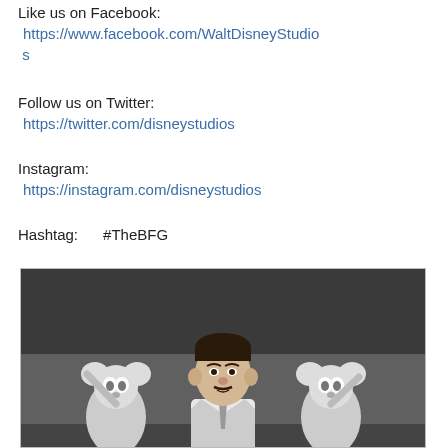Like us on Facebook:
https://www.facebook.com/WaltDisneyStudios
Follow us on Twitter:
https://twitter.com/disneystudios
Instagram:
https://instagram.com/disneystudios
Hashtag:      #TheBFG
[Figure (photo): Black and white photograph of a man (Walt Disney) with two cartoon character puppets/figurines on either side of him, in a studio setting]